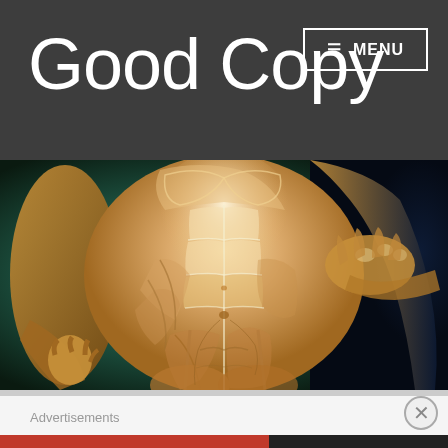Good Copy
≡  MENU
[Figure (illustration): Medical anatomical illustration of a human male torso showing detailed musculature — abdominal muscles, chest, arms, and hip flexors visible through transparent skin layer, set against a dark teal/blue background.]
Advertisements